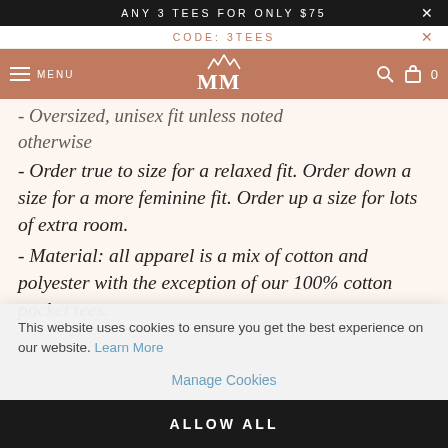ANY 3 TEES FOR ONLY $75
CODE: 3TEES
MM (logo) MENU | Search | Cart 0
- Oversized, unisex fit unless noted otherwise
- Order true to size for a relaxed fit. Order down a size for a more feminine fit. Order up a size for lots of extra room.
- Material: all apparel is a mix of cotton and polyester with the exception of our 100% cotton pocket tees.
This website uses cookies to ensure you get the best experience on our website. Learn More
Manage Cookies
ALLOW ALL